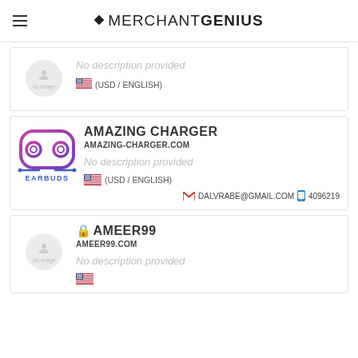MERCHANT GENIUS
[Figure (other): No image placeholder circle]
No description provided
(USD / ENGLISH)
AMAZING CHARGER
AMAZING-CHARGER.COM
[Figure (logo): Amazing Charger Earbuds logo - infinity shape with earbuds]
No description provided
(USD / ENGLISH)
DALVRABE@GMAIL.COM  4096219
AMEER99
AMEER99.COM
[Figure (other): No image placeholder circle]
No description provided